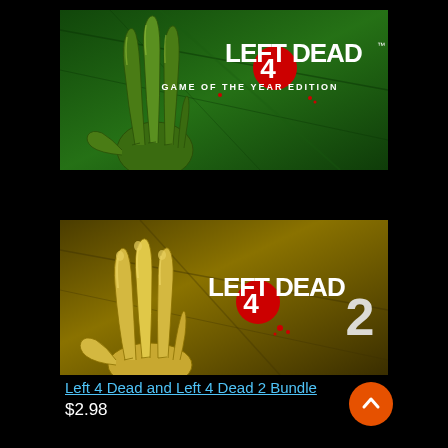[Figure (illustration): Left 4 Dead Game of the Year Edition game cover art showing a zombie hand on green distressed background with game logo]
[Figure (illustration): Left 4 Dead 2 game cover art showing a zombie hand on golden/olive distressed background with game logo and number 2]
Left 4 Dead and Left 4 Dead 2 Bundle
$2.98